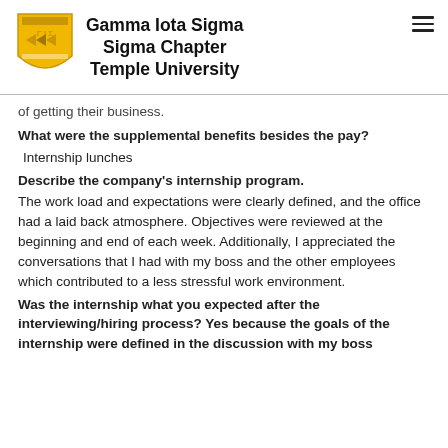[Figure (logo): Gamma Iota Sigma shield logo in gold/yellow]
Gamma Iota Sigma
Sigma Chapter
Temple University
of getting their business.
What were the supplemental benefits besides the pay?
Internship lunches
Describe the company's internship program.
The work load and expectations were clearly defined, and the office had a laid back atmosphere. Objectives were reviewed at the beginning and end of each week. Additionally, I appreciated the conversations that I had with my boss and the other employees which contributed to a less stressful work environment.
Was the internship what you expected after the interviewing/hiring process?
Yes because the goals of the internship were defined in the discussion with my boss